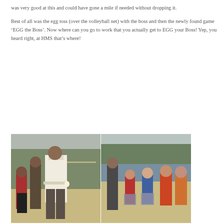was very good at this and could have gone a mile if needed without dropping it.
Best of all was the egg toss (over the volleyball net) with the boss and then the newly found game ‘EGG the Boss’. Now where can you go to work that you actually get to EGG your Boss! Yep, you heard right, at HMS that’s where!
[Figure (photo): Two side-by-side outdoor photos. Left photo shows a person in a white top and dark pants walking on sand, with a child visible on the left and trees/volleyball net in background. Right photo shows a group of children and an adult on a sandy beach near a lake, some children appear to be in sack race bags.]
[Figure (photo): Partial bottom photo showing a waterfront or lakeside landscape with trees in the background, partially visible.]